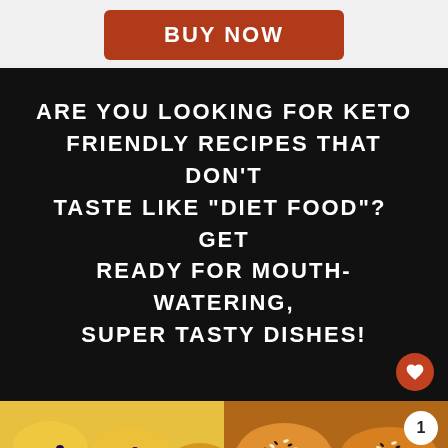BUY NOW
ARE YOU LOOKING FOR KETO FRIENDLY RECIPES THAT DON'T TASTE LIKE "DIET FOOD"?  GET READY FOR MOUTH-WATERING, SUPER TASTY DISHES!
[Figure (photo): Photo of baked blueberry muffins with golden-brown tops on a tray]
[Figure (photo): Photo of sesame seed buns in a white dish, golden-brown with black and white sesame seeds on top; share badge showing count of 1]